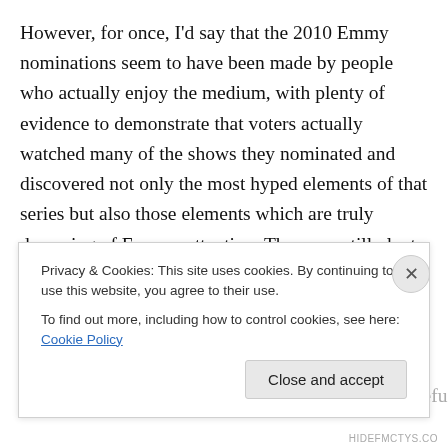However, for once, I'd say that the 2010 Emmy nominations seem to have been made by people who actually enjoy the medium, with plenty of evidence to demonstrate that voters actually watched many of the shows they nominated and discovered not only the most hyped elements of that series but also those elements which are truly deserving of Emmys attention. There are still plenty of examples where it's clear that Emmy voters didn't truly bother to watch the series in question, and all sorts of evidence which indicates that the Emmy voters suffer from a dangerously selective memory and a refusal
Privacy & Cookies: This site uses cookies. By continuing to use this website, you agree to their use.
To find out more, including how to control cookies, see here: Cookie Policy
Close and accept
HIDEFMCTYS.CO